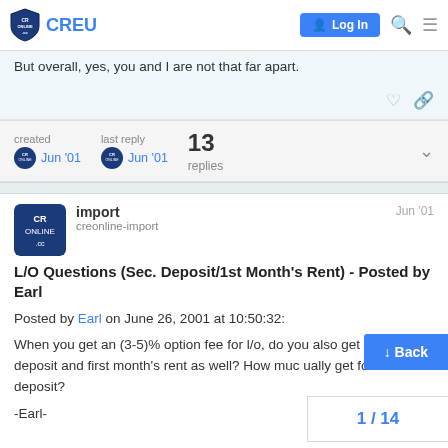CREU — Log In
But overall, yes, you and I are not that far apart.
created Jun '01   last reply Jun '01   13 replies
import   creonline-import   Jun '01
L/O Questions (Sec. Deposit/1st Month's Rent) - Posted by Earl
Posted by Earl on June 26, 2001 at 10:50:32:
When you get an (3-5)% option fee for l/o, do you also get sec. deposit and first month's rent as well? How much do you usually get for sec. deposit?
-Earl-
1 / 14